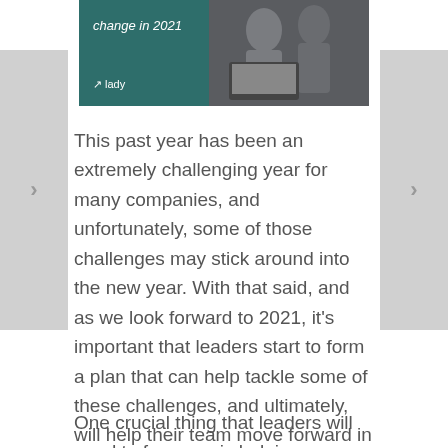[Figure (photo): Teal/dark background photo showing people working on a laptop, with text overlay 'change in 2021' and a logo mark]
This past year has been an extremely challenging year for many companies, and unfortunately, some of those challenges may stick around into the new year. With that said, and as we look forward to 2021, it's important that leaders start to form a plan that can help tackle some of these challenges, and ultimately, will help their team move forward in a positive direction.
One crucial thing that leaders will need to focus on in 2021 is helping